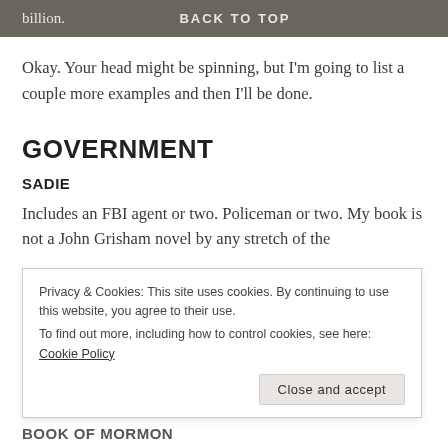billion.   BACK TO TOP
Okay. Your head might be spinning, but I'm going to list a couple more examples and then I'll be done.
GOVERNMENT
SADIE
Includes an FBI agent or two. Policeman or two. My book is not a John Grisham novel by any stretch of the
Privacy & Cookies: This site uses cookies. By continuing to use this website, you agree to their use.
To find out more, including how to control cookies, see here: Cookie Policy
Close and accept
BOOK OF MORMON